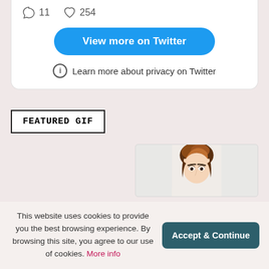[Figure (screenshot): Twitter embed card showing tweet interaction counts: 11 comments, 254 likes, with a 'View more on Twitter' button and 'Learn more about privacy on Twitter' link]
FEATURED GIF
[Figure (photo): Cropped photo of a young man with brown/auburn hair, showing the top half of his face with one visible eye visible at the bottom edge]
This website uses cookies to provide you the best browsing experience. By browsing this site, you agree to our use of cookies. More info